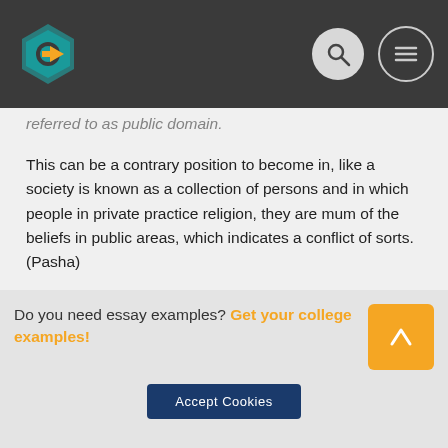Website header with logo and navigation icons
referred to as public domain.
This can be a contrary position to become in, like a society is known as a collection of persons and in which people in private practice religion, they are mum of the beliefs in public areas, which indicates a conflict of sorts. (Pasha)
It also implies that while American thought speaks of liberalism and modernity as well as a comprehensive climate in which people are deemed without any concern to their religious beliefs, western believed too has resulted in a situation wherever economic splendour rather than religious discrimination is present. Moreover with liberalism in its core
Do you need essay examples? Get your college examples!